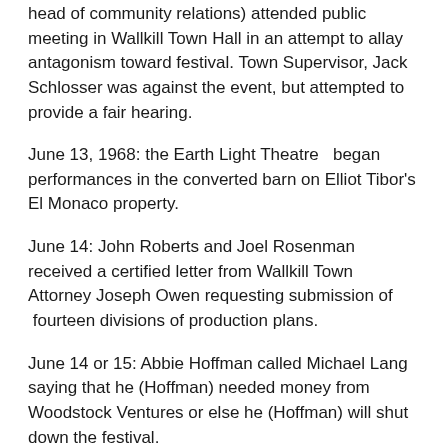head of community relations) attended public meeting in Wallkill Town Hall in an attempt to allay antagonism toward festival. Town Supervisor, Jack Schlosser was against the event, but attempted to provide a fair hearing.
June 13, 1968: the Earth Light Theatre  began performances in the converted barn on Elliot Tibor's El Monaco property.
June 14: John Roberts and Joel Rosenman received a certified letter from Wallkill Town Attorney Joseph Owen requesting submission of  fourteen divisions of production plans.
June 14 or 15: Abbie Hoffman called Michael Lang saying that he (Hoffman) needed money from Woodstock Ventures or else he (Hoffman) will shut down the festival.
June 15:
local residents Cliff Reynolds and Brent Biemiller (also State